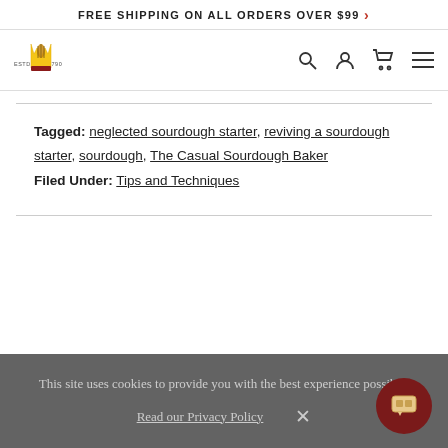FREE SHIPPING ON ALL ORDERS OVER $99 >
[Figure (logo): King Arthur Baking Company logo — crown with wheat, ESTD 1790, with navigation icons (search, account, cart, menu)]
Tagged: neglected sourdough starter, reviving a sourdough starter, sourdough, The Casual Sourdough Baker
Filed Under: Tips and Techniques
This site uses cookies to provide you with the best experience possible.
Read our Privacy Policy  X